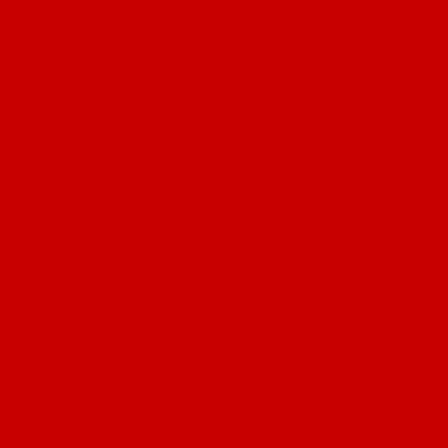Yes. Miva is enabled on all accounts.
Do you offer SSL (secure) hosting?
Yes.
Do you offer telnet or shell access?
No. But we do provide a private FTP acco... managing your website.
Can I use my private FTP account as a... service?
No. The private FTP account which you r... uploading and managing your web site. A... free with all domain packages.
Back to top.
Can I host my pornographic or offensi...
No. Although we respect the First Amend... and oppose the censorship of the Interne... host sites, which we consider to be objec... us is that pornography could draw too ma... could adversely affect our systems or sup... be named in legal proceedings against p... systems.
Can I use your service to send spam?
No. BuyDomains defines spam to be mas... messages (i.e. junk mail on the internet).... will be immediately terminated, and will b... fines up to 50 cents per message plus a...